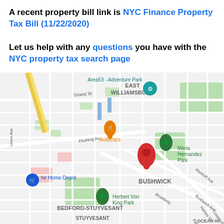A recent property bill link is NYC Finance Property Tax Bill (11/22/2020)
Let us help with any questions you have with the NYC property tax search page
[Figure (map): Google Maps screenshot showing Bushwick/East Williamsburg area of Brooklyn, NY. Shows streets including Flushing Ave, Broadway, Bushwick Ave, Grand St. Landmarks include Maria Hernandez Park (green marker), Roberta's restaurant (orange marker), Herbert Von King Park (green marker), Area53 Adventure Park (teal marker), Home Depot (blue marker). A red location pin is placed near Maria Hernandez Park. Neighborhood labels: East Williamsburg, Bushwick, Bedford-Stuyvesant, Stuyvesant, Ocean Hill.]